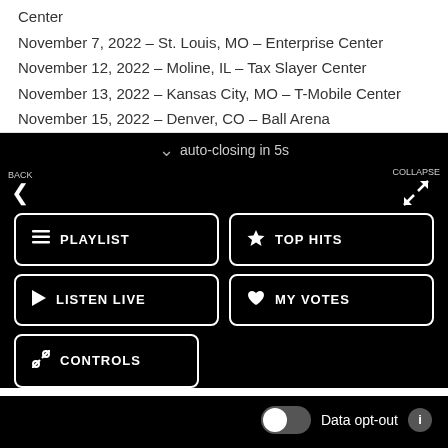Center
November 7, 2022 – St. Louis, MO – Enterprise Center
November 12, 2022 – Moline, IL – Tax Slayer Center
November 13, 2022 – Kansas City, MO – T-Mobile Center
November 15, 2022 – Denver, CO – Ball Arena
auto-closing in 5s
BACK
PLAYLIST
TOP HITS
COLLAPSE
LISTEN LIVE
MY VOTES
CONTROLS
Data opt-out
Kat Country 103
Kat Country 103
MENU